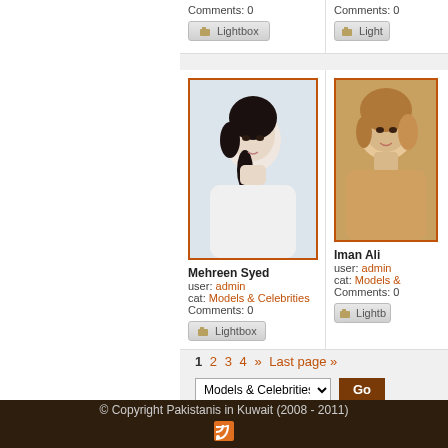Comments: 0
Lightbox
Comments: 0
Lightbox
[Figure (photo): Portrait photo of Mehreen Syed, dark hair, white background]
Mehreen Syed
user: admin
cat: Models & Celebrities
Comments: 0
Lightbox
[Figure (photo): Portrait photo of Iman Ali, light brown/blonde hair]
Iman Ali
user: admin
cat: Models &
Comments: 0
Lightbox
1 2 3 4 » Last page »
Models & Celebrities  Go
© Copyright Pakistanis in Kuwait (2008 - 2011)